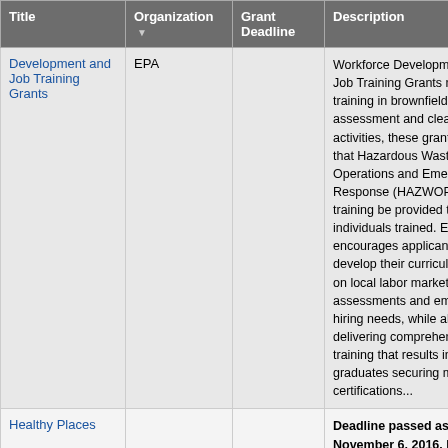| Title | Organization | Grant Deadline | Description |
| --- | --- | --- | --- |
| Development and Job Training Grants | EPA |  | Workforce Development and Job Training Grants require training in brownfield assessment and cleanup activities, these grants require that Hazardous Waste Operations and Emergency Response (HAZWOPER) training be provided to all individuals trained. EPA encourages applicants to develop their curricula based on local labor market assessments and employers' hiring needs, while also delivering comprehensive training that results in graduates securing multiple certifications... |
| Healthy Places |  |  | Deadline passed as of November 6, 2016. Deadline for 2017 unknown. Healthy Places Healthy People will provide selected communities with planning assistance that centers around a two-day community... |